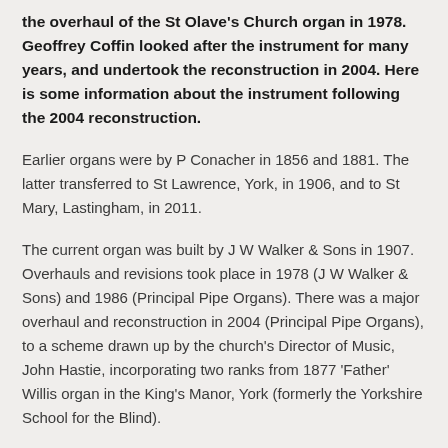the overhaul of the St Olave's Church organ in 1978. Geoffrey Coffin looked after the instrument for many years, and undertook the reconstruction in 2004. Here is some information about the instrument following the 2004 reconstruction.
Earlier organs were by P Conacher in 1856 and 1881. The latter transferred to St Lawrence, York, in 1906, and to St Mary, Lastingham, in 2011.
The current organ was built by J W Walker & Sons in 1907. Overhauls and revisions took place in 1978 (J W Walker & Sons) and 1986 (Principal Pipe Organs). There was a major overhaul and reconstruction in 2004 (Principal Pipe Organs), to a scheme drawn up by the church's Director of Music, John Hastie, incorporating two ranks from 1877 'Father' Willis organ in the King's Manor, York (formerly the Yorkshire School for the Blind).